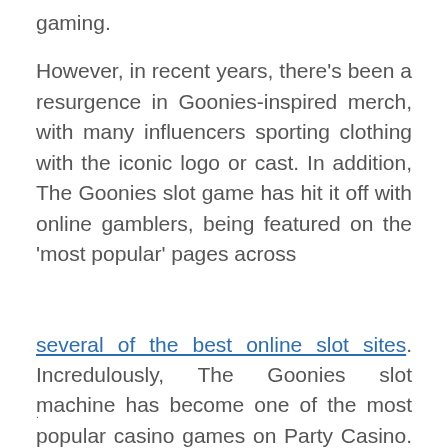gaming.
However, in recent years, there's been a resurgence in Goonies-inspired merch, with many influencers sporting clothing with the iconic logo or cast. In addition, The Goonies slot game has hit it off with online gamblers, being featured on the 'most popular' pages across
several of the best online slot sites. Incredulously, The Goonies slot machine has become one of the most popular casino games on Party Casino. Franchising existing movies into slot titles is just one way to capture 80s nostalgia strife through our entertainment